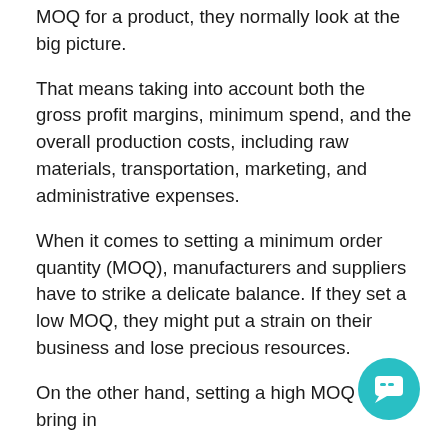MOQ for a product, they normally look at the big picture.
That means taking into account both the gross profit margins, minimum spend, and the overall production costs, including raw materials, transportation, marketing, and administrative expenses.
When it comes to setting a minimum order quantity (MOQ), manufacturers and suppliers have to strike a delicate balance. If they set a low MOQ, they might put a strain on their business and lose precious resources.
On the other hand, setting a high MOQ can bring in